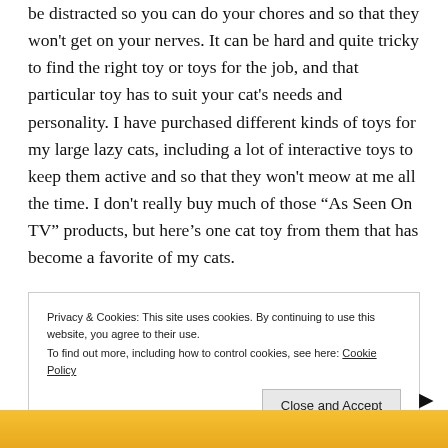be distracted so you can do your chores and so that they won't get on your nerves. It can be hard and quite tricky to find the right toy or toys for the job, and that particular toy has to suit your cat's needs and personality. I have purchased different kinds of toys for my large lazy cats, including a lot of interactive toys to keep them active and so that they won't meow at me all the time. I don't really buy much of those “As Seen On TV” products, but here’s one cat toy from them that has become a favorite of my cats.
Privacy & Cookies: This site uses cookies. By continuing to use this website, you agree to their use. To find out more, including how to control cookies, see here: Cookie Policy